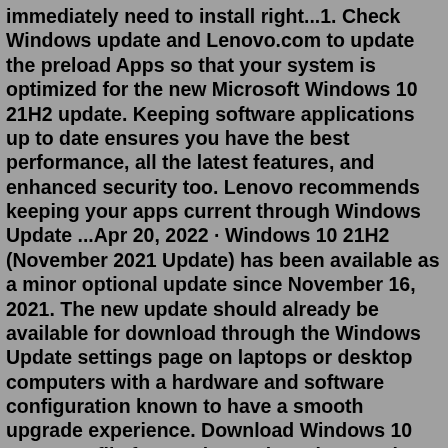immediately need to install right...1. Check Windows update and Lenovo.com to update the preload Apps so that your system is optimized for the new Microsoft Windows 10 21H2 update. Keeping software applications up to date ensures you have the best performance, all the latest features, and enhanced security too. Lenovo recommends keeping your apps current through Windows Update ...Apr 20, 2022 · Windows 10 21H2 (November 2021 Update) has been available as a minor optional update since November 16, 2021. The new update should already be available for download through the Windows Update settings page on laptops or desktop computers with a hardware and software configuration known to have a smooth upgrade experience. Download Windows 10 21H2 ISO file from Volume Licensing Service Center or from here.; Navigate to patch store location: To find patch store location, navigate to Patch Management-> Downloaded Patches -> Settings -> Patch Repository Location. Good Day Thịnh, My name is Carlo. I am also using Windows 10 pc and